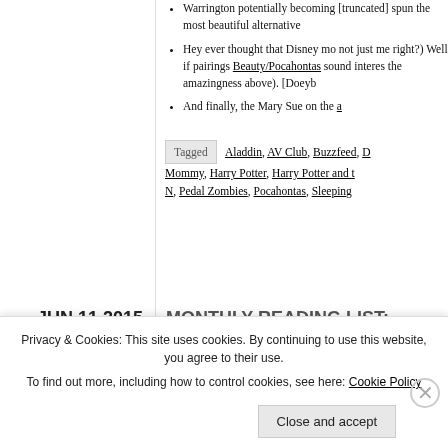Warrington potentially becoming [truncated] spun the most beautiful alternative [truncated]
Hey ever thought that Disney mo [truncated] not just me right?) Well if pairings [truncated] Beauty/Pocahontas sound interes [truncated] the amazingness above). [Doeyb[truncated]
And finally, the Mary Sue on the a[truncated]
Tagged  Aladdin, AV Club, Buzzfeed, D[truncated] Mommy, Harry Potter, Harry Potter and t[truncated] N, Pedal Zombies, Pocahontas, Sleeping[truncated]
JUN 11 2015
MONTHLY READING LIST:
Privacy & Cookies: This site uses cookies. By continuing to use this website, you agree to their use.
To find out more, including how to control cookies, see here: Cookie Policy
Close and accept